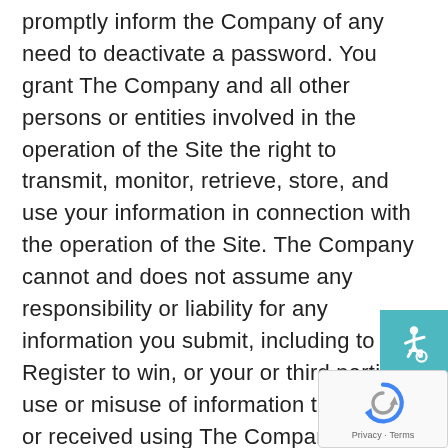promptly inform the Company of any need to deactivate a password. You grant The Company and all other persons or entities involved in the operation of the Site the right to transmit, monitor, retrieve, store, and use your information in connection with the operation of the Site. The Company cannot and does not assume any responsibility or liability for any information you submit, including to Register to win, or your or third parties' use or misuse of information transmitted or received using The Company tools and services, including Online Editor and Practice-XI Online.
8- The Company, LIVE AND MEMBER TO
[Figure (illustration): Teal/cyan accessibility icon button on the right side showing a wheelchair accessibility symbol in white on a teal background.]
[Figure (illustration): Google reCAPTCHA widget in the bottom right corner showing the reCAPTCHA logo with arrows and 'Privacy - Terms' text.]